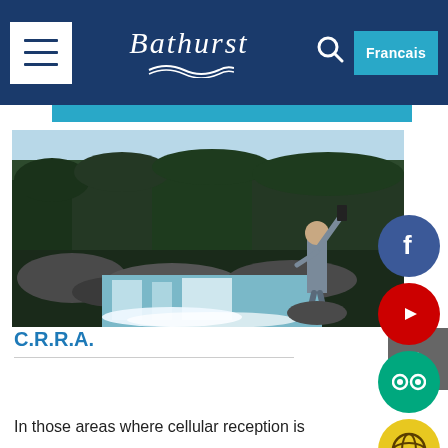Bathurst — navigation header with menu button, logo, search icon, Francais button
[Figure (photo): Man standing on rocks by a waterfall, raising his phone to take a photo/selfie. Forest in background, rushing white water below.]
C.R.R.A.
In those areas where cellular reception is